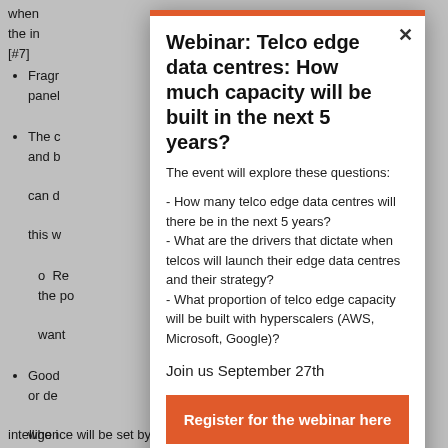when the in [#7]
Fragr panel
The c and b can d this w
o Re the po want
Good or dev who i
The b
intelligence will be set by customer behaviour [#60,
[Figure (other): Modal popup dialog for a webinar advertisement. Title: 'Webinar: Telco edge data centres: How much capacity will be built in the next 5 years?' with questions listed and a register button.]
Webinar: Telco edge data centres: How much capacity will be built in the next 5 years?
The event will explore these questions:
- How many telco edge data centres will there be in the next 5 years?
- What are the drivers that dictate when telcos will launch their edge data centres and their strategy?
- What proportion of telco edge capacity will be built with hyperscalers (AWS, Microsoft, Google)?
Join us September 27th
Register for the webinar here